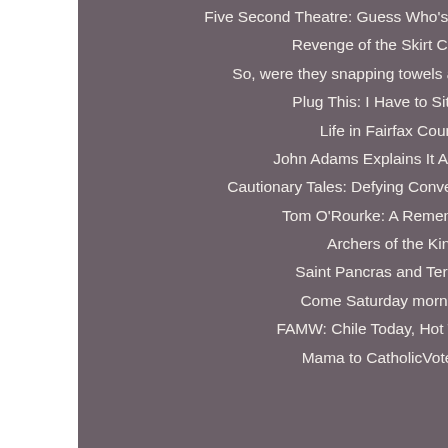Five Second Theatre: Guess Who's Coming to Dinner?
Revenge of the Skirt Chasers
So, were they snapping towels at her, or what?
Plug This: I Have to Sit Down
Life in Fairfax County
John Adams Explains It All For You
Cautionary Tales: Defying Conventional Wisdom
Tom O'Rourke: A Remembrance
Archers of the King
Saint Pancras and Terrorism
Come Saturday morning ...
FAMW: Chile Today, Hot Tamales!
Mama to CatholicVote.org:
(in the lingo of awesome.
9/14/2010 11:
David L Alex
Goliard, is that RETURNED!! of MWBH. We
9/14/2010 12:
Anonymous
Thanks, Man home mom to school, three to one kid whe home, went o and three fro orthodontist a up one at the And that's wh my inbox is ge